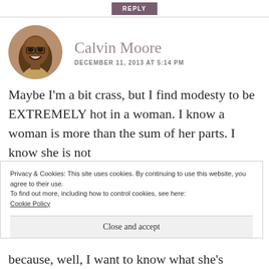REPLY
Calvin Moore
DECEMBER 11, 2013 AT 5:14 PM
[Figure (photo): Circular avatar photo of Calvin Moore, a smiling man wearing glasses]
Maybe I'm a bit crass, but I find modesty to be EXTREMELY hot in a woman. I know a woman is more than the sum of her parts. I know she is not
Privacy & Cookies: This site uses cookies. By continuing to use this website, you agree to their use.
To find out more, including how to control cookies, see here:
Cookie Policy
Close and accept
because, well, I want to know what she's